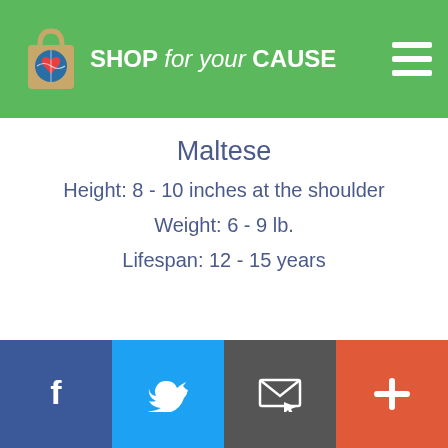SHOP for your CAUSE
Maltese
Height: 8 - 10 inches at the shoulder
Weight: 6 - 9 lb.
Lifespan: 12 - 15 years
Facebook | Twitter | Email | Plus